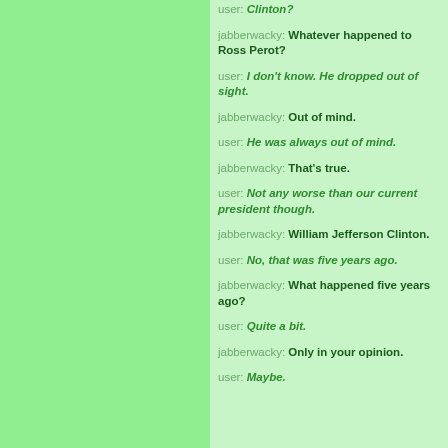user: Clinton?
jabberwacky: Whatever happened to Ross Perot?
user: I don't know. He dropped out of sight.
jabberwacky: Out of mind.
user: He was always out of mind.
jabberwacky: That's true.
user: Not any worse than our current president though.
jabberwacky: William Jefferson Clinton.
user: No, that was five years ago.
jabberwacky: What happened five years ago?
user: Quite a bit.
jabberwacky: Only in your opinion.
user: Maybe.